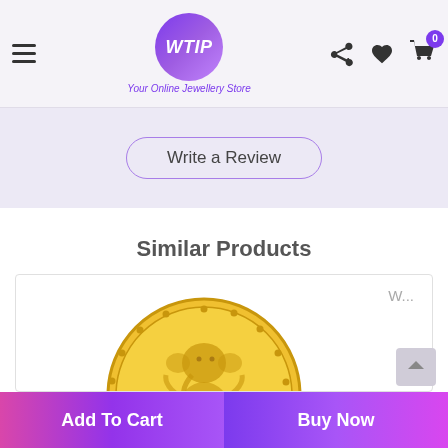WTIP - Your Online Jewellery Store
Write a Review
Similar Products
[Figure (photo): Gold coin featuring Ganesha deity engraving on a product card with wishlist label 'W...']
Add To Cart
Buy Now